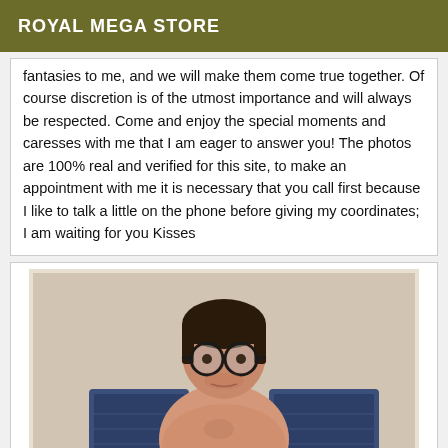ROYAL MEGA STORE
fantasies to me, and we will make them come true together. Of course discretion is of the utmost importance and will always be respected. Come and enjoy the special moments and caresses with me that I am eager to answer you! The photos are 100% real and verified for this site, to make an appointment with me it is necessary that you call first because I like to talk a little on the phone before giving my coordinates; I am waiting for you Kisses
[Figure (photo): A man with dark hair and round glasses, shirtless, seated near a patterned chair or sofa, indoor setting with floral wallpaper background. The photo appears to be an older printed photograph with a white border.]